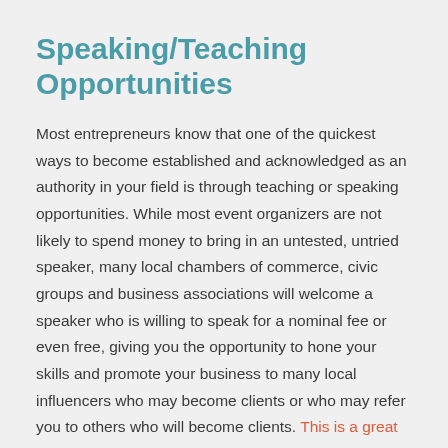Speaking/Teaching Opportunities
Most entrepreneurs know that one of the quickest ways to become established and acknowledged as an authority in your field is through teaching or speaking opportunities. While most event organizers are not likely to spend money to bring in an untested, untried speaker, many local chambers of commerce, civic groups and business associations will welcome a speaker who is willing to speak for a nominal fee or even free, giving you the opportunity to hone your skills and promote your business to many local influencers who may become clients or who may refer you to others who will become clients. This is a great way to get started with speaking, if that's one of your goals.